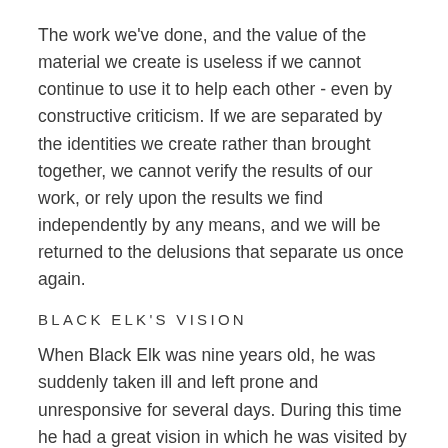The work we've done, and the value of the material we create is useless if we cannot continue to use it to help each other - even by constructive criticism. If we are separated by the identities we create rather than brought together, we cannot verify the results of our work, or rely upon the results we find independently by any means, and we will be returned to the delusions that separate us once again.
BLACK ELK'S VISION
When Black Elk was nine years old, he was suddenly taken ill and left prone and unresponsive for several days. During this time he had a great vision in which he was visited by the Thunder Beings (Wakinyan), and taken to the Grandfathers — spiritual representatives of the six sacred directions: west, east, north, south, above, and below.
Black Elk had learned many things in his vision to help heal his people. He had come from a line long of medicine men and healers in his family; his father was a